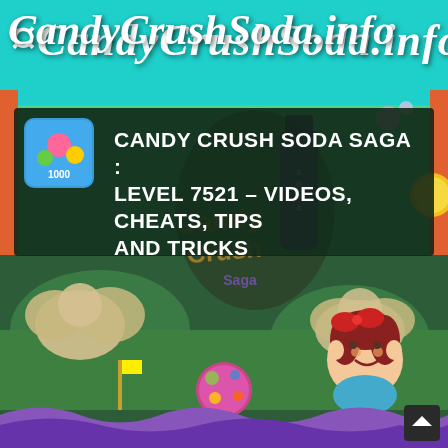CandyCrushSoda.info
CANDY CRUSH SODA SAGA : LEVEL 7521 – VIDEOS, CHEATS, TIPS AND TRICKS
[Figure (screenshot): Candy Crush Soda Saga game scene showing a colorful level with cartoon character (girl with red bow), candy mountains, wavy purple soda at bottom, and game logo overlay]